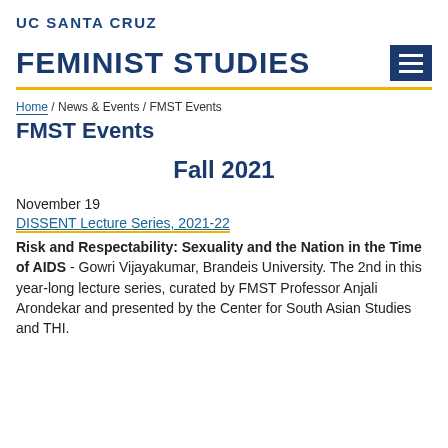UC SANTA CRUZ
FEMINIST STUDIES
Home / News & Events / FMST Events
FMST Events
Fall 2021
November 19
DISSENT Lecture Series, 2021-22
Risk and Respectability: Sexuality and the Nation in the Time of AIDS - Gowri Vijayakumar, Brandeis University. The 2nd in this year-long lecture series, curated by FMST Professor Anjali Arondekar and presented by the Center for South Asian Studies and THI.